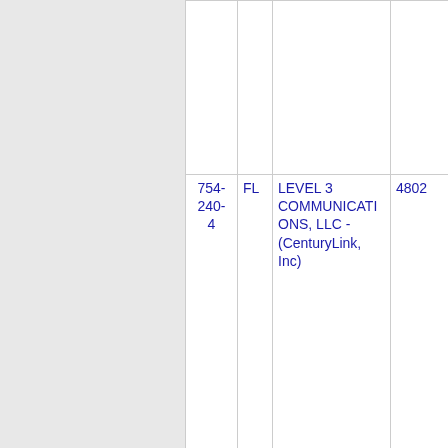| Phone | State | Company | Code |
| --- | --- | --- | --- |
|  |  |  |  |
| 754-240-4 | FL | LEVEL 3 COMMUNICATIONS, LLC - (CenturyLink, Inc) | 4802 |
| 754-240-5 | FL | ONVOY, LLC - FL (Inteliquent) | 937C |